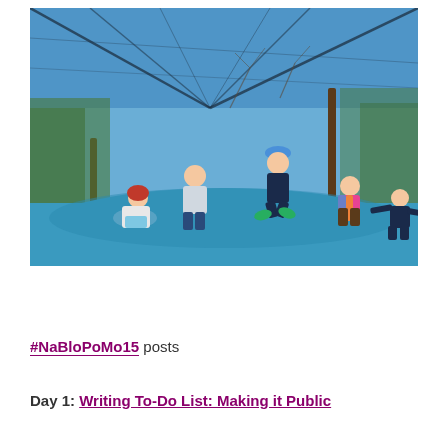[Figure (photo): Children playing and jumping on a large blue trampoline with a dark safety net enclosure overhead. Trees with bare branches are visible in the background. One child is mid-jump wearing a blue hat and dark clothes with green shoes, another sits on the trampoline surface, others stand around.]
#NaBloPoMo15 posts
Day 1: Writing To-Do List: Making it Public